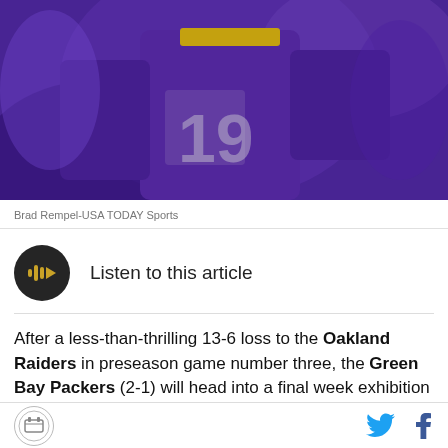[Figure (photo): Football player in purple Minnesota Vikings jersey, number 19, running on field. Blurred background with other players visible.]
Brad Rempel-USA TODAY Sports
[Figure (other): Listen to this article audio button - dark circular button with gold sound wave icon]
After a less-than-thrilling 13-6 loss to the Oakland Raiders in preseason game number three, the Green Bay Packers (2-1) will head into a final week exhibition clash with the Patrick Mahomes-led Kansas City